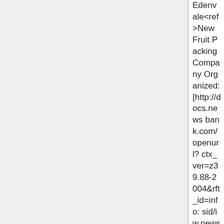Edenvale<ref>New Fruit Packing Company Organized: [http://docs.newsbank.com/openurl?ctx_ver=z39.88-2004&rft_id=info:sid/iw.newsbank.com:EANX-NB&rft_val_format=info:ofi/fmt:kev:mtx:ctx&rft_dat=1158268460689D98&svc_dat=HistArchive:ahnpdoc&req_dat=1633CF8ECE5A48E5B7974C9CF0EE2D33 June 2, 1903 San Jose Mercury]: Lyon: